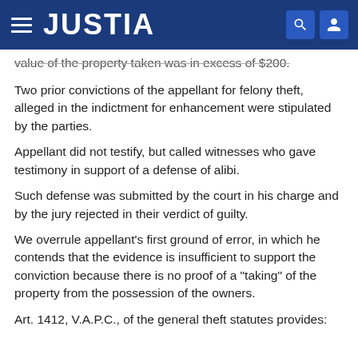JUSTIA
value of the property taken was in excess of $200.
Two prior convictions of the appellant for felony theft, alleged in the indictment for enhancement were stipulated by the parties.
Appellant did not testify, but called witnesses who gave testimony in support of a defense of alibi.
Such defense was submitted by the court in his charge and by the jury rejected in their verdict of guilty.
We overrule appellant's first ground of error, in which he contends that the evidence is insufficient to support the conviction because there is no proof of a "taking" of the property from the possession of the owners.
Art. 1412, V.A.P.C., of the general theft statutes provides: